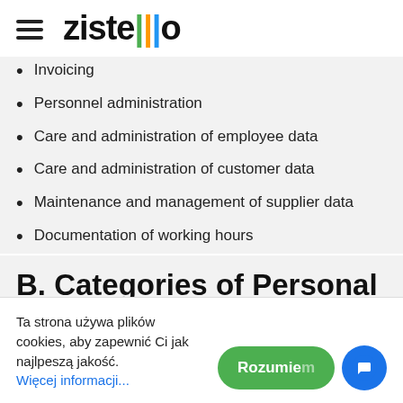zistemo
Invoicing
Personnel administration
Care and administration of employee data
Care and administration of customer data
Maintenance and management of supplier data
Documentation of working hours
B. Categories of Personal Information
Ta strona używa plików cookies, aby zapewnić Ci jak najlpeszą jakość. Więcej informacji...